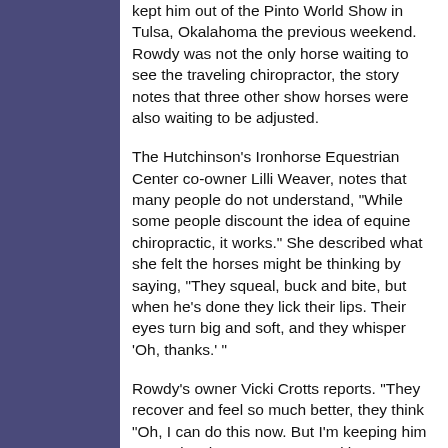kept him out of the Pinto World Show in Tulsa, Okalahoma the previous weekend. Rowdy was not the only horse waiting to see the traveling chiropractor, the story notes that three other show horses were also waiting to be adjusted.
The Hutchinson's Ironhorse Equestrian Center co-owner Lilli Weaver, notes that many people do not understand, "While some people discount the idea of equine chiropractic, it works." She described what she felt the horses might be thinking by saying, "They squeal, buck and bite, but when he's done they lick their lips. Their eyes turn big and soft, and they whisper 'Oh, thanks.' "
Rowdy's owner Vicki Crotts reports. "They recover and feel so much better, they think "Oh, I can do this now. But I'm keeping him penned so he won't go out and hurt himself."